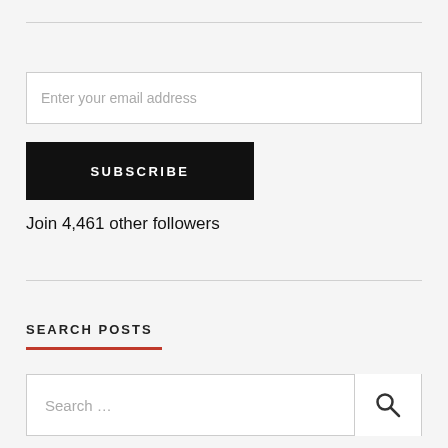Enter your email address
SUBSCRIBE
Join 4,461 other followers
SEARCH POSTS
Search …